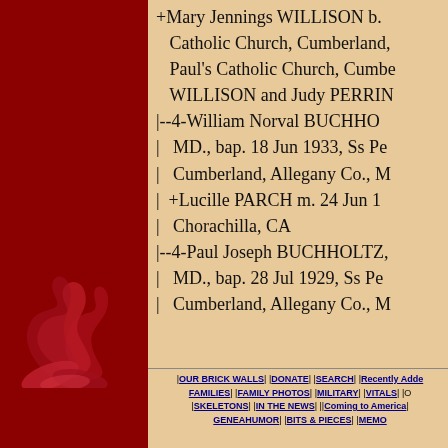+Mary Jennings WILLISON b. Catholic Church, Cumberland, Paul's Catholic Church, Cumberland, WILLISON and Judy PERRIN |--4-William Norval BUCHHOLTZ MD., bap. 18 Jun 1933, Ss Pe Cumberland, Allegany Co., M | +Lucille PARCH m. 24 Jun 1 | Chorachilla, CA |--4-Paul Joseph BUCHHOLTZ, MD., bap. 28 Jul 1929, Ss Pe Cumberland, Allegany Co., M
|OUR BRICK WALLS| |DONATE| |SEARCH| |Recently Added FAMILIES| |FAMILY PHOTOS| |MILITARY| |VITALS| |O |SKELETONS| |IN THE NEWS| ||Coming to America| |GENEAHUMOR| |BITS & PIECES| |MEMO